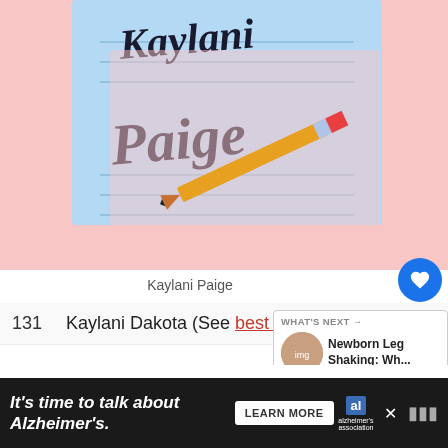[Figure (illustration): Illustrated image of a notepad with cursive text 'Kaylani Paige' and a pencil on a pink background]
Kaylani Paige
131  Kaylani Dakota (See best names for Dakota)
132  Kaylani Veronica
[Figure (screenshot): What's Next promo: Newborn Leg Shaking: Wh... with a thumbnail image]
[Figure (screenshot): Advertisement: It's time to talk about Alzheimer's. Learn More. Alzheimer's Association logo.]